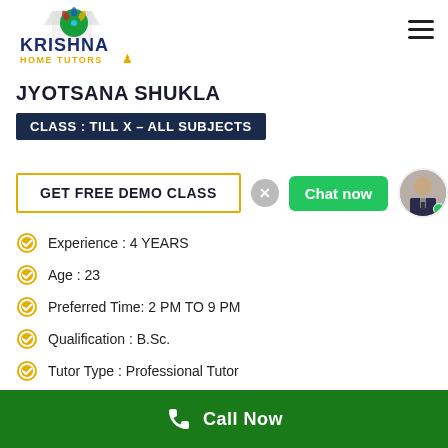[Figure (logo): Krishna Home Tutors logo with peacock motif and colorful design]
JYOTSANA SHUKLA
CLASS : TILL X – ALL SUBJECTS
GET FREE DEMO CLASS
Experience : 4 YEARS
Age : 23
Preferred Time: 2 PM TO 9 PM
Qualification : B.Sc.
Tutor Type : Professional Tutor
Call Now